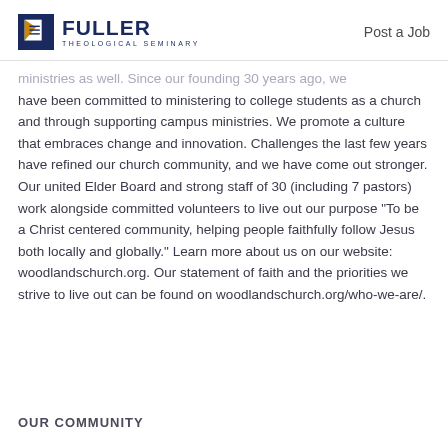[Figure (logo): Fuller Theological Seminary logo with blue triangle/book icon and text]
Post a Job
ministries as well. Since our founding 30 years ago, we have been committed to ministering to college students as a church and through supporting campus ministries. We promote a culture that embraces change and innovation. Challenges the last few years have refined our church community, and we have come out stronger. Our united Elder Board and strong staff of 30 (including 7 pastors) work alongside committed volunteers to live out our purpose “To be a Christ centered community, helping people faithfully follow Jesus both locally and globally.” Learn more about us on our website: woodlandschurch.org. Our statement of faith and the priorities we strive to live out can be found on woodlandschurch.org/who-we-are/.
OUR COMMUNITY